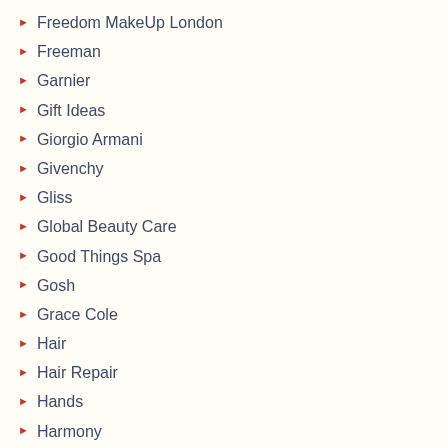Freedom MakeUp London
Freeman
Garnier
Gift Ideas
Giorgio Armani
Givenchy
Gliss
Global Beauty Care
Good Things Spa
Gosh
Grace Cole
Hair
Hair Repair
Hands
Harmony
Harunouta
Hello Kitty
Herbal Essences
Highlighter
Home Bargains